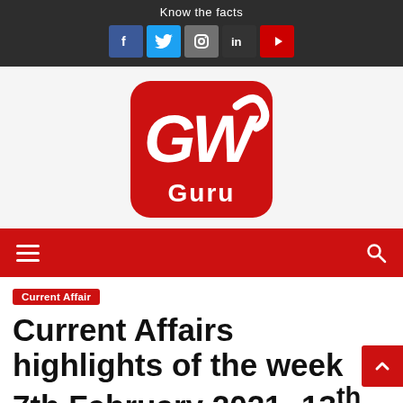Know the facts
[Figure (logo): GW Guru logo — red rounded square with white cursive GW letters and 'Guru' text below]
Current Affair
Current Affairs highlights of the week 7th February 2021- 13th February 2021